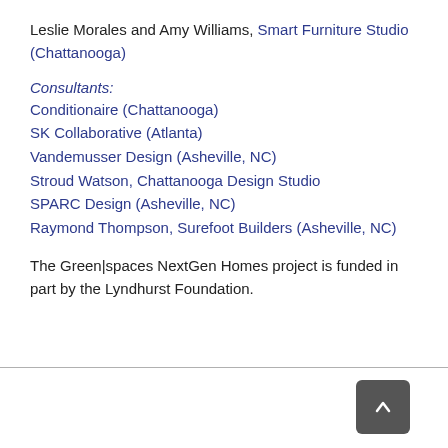Leslie Morales and Amy Williams, Smart Furniture Studio (Chattanooga)
Consultants:
Conditionaire (Chattanooga)
SK Collaborative (Atlanta)
Vandemusser Design (Asheville, NC)
Stroud Watson, Chattanooga Design Studio
SPARC Design (Asheville, NC)
Raymond Thompson, Surefoot Builders (Asheville, NC)
The Green|spaces NextGen Homes project is funded in part by the Lyndhurst Foundation.